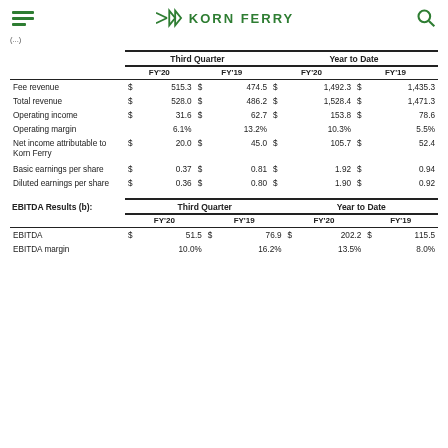KORN FERRY
(...)
|  | $ | Third Quarter FY'20 | Third Quarter FY'19 | $ | Year to Date FY'20 | $ | Year to Date FY'19 |
| --- | --- | --- | --- | --- | --- | --- | --- |
| Fee revenue | $ | 515.3 | $ | 474.5 | $ | 1,492.3 | $ | 1,435.3 |
| Total revenue | $ | 528.0 | $ | 486.2 | $ | 1,528.4 | $ | 1,471.3 |
| Operating income | $ | 31.6 | $ | 62.7 | $ | 153.8 | $ | 78.6 |
| Operating margin |  | 6.1% |  | 13.2% |  | 10.3% |  | 5.5% |
| Net income attributable to Korn Ferry | $ | 20.0 | $ | 45.0 | $ | 105.7 | $ | 52.4 |
| Basic earnings per share | $ | 0.37 | $ | 0.81 | $ | 1.92 | $ | 0.94 |
| Diluted earnings per share | $ | 0.36 | $ | 0.80 | $ | 1.90 | $ | 0.92 |
| EBITDA Results (b): | $ | Third Quarter FY'20 | Third Quarter FY'19 | $ | Year to Date FY'20 | $ | Year to Date FY'19 |
| --- | --- | --- | --- | --- | --- | --- | --- |
| EBITDA | $ | 51.5 | $ | 76.9 | $ | 202.2 | $ | 115.5 |
| EBITDA margin |  | 10.0% |  | 16.2% |  | 13.5% |  | 8.0% |